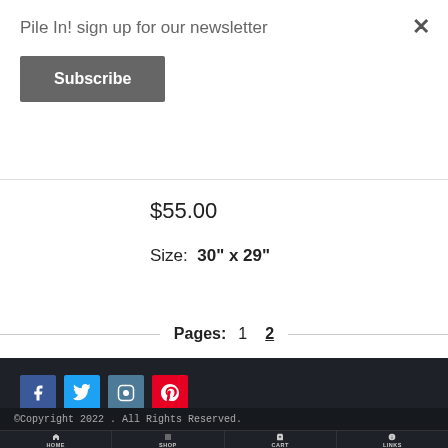Pile In! sign up for our newsletter
Subscribe
$55.00
Size:  30" x 29"
Pages:  1  2
SOCIAL MEDIA
[Figure (illustration): Social media icons: Facebook, Twitter, Instagram, Pinterest]
© Copyright 2022 . All Rights Reserved.
HOME  SHOP  CART  LINKS